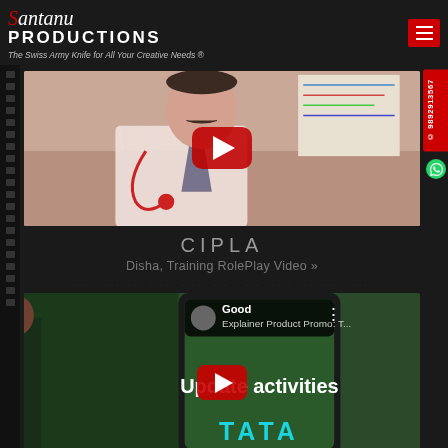Santanu Productions - The Swiss Army Knife for All Your Creative Needs ®
[Figure (screenshot): Video thumbnail showing a doctor with stethoscope and red YouTube play button overlay]
CIPLA
Disha, Training RolePlay Video »
[Figure (screenshot): YouTube video embedded in mobile phone showing 'Explainer Product Promo: T...' with 'Update activities' text and TATA branding with red play button overlay]